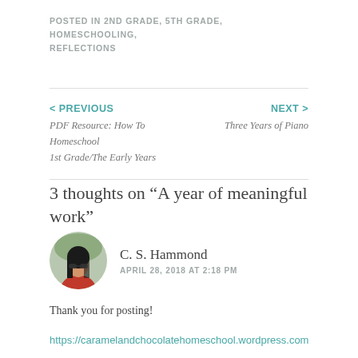POSTED IN 2ND GRADE, 5TH GRADE, HOMESCHOOLING, REFLECTIONS
< PREVIOUS
PDF Resource: How To Homeschool 1st Grade/The Early Years
NEXT >
Three Years of Piano
3 thoughts on “A year of meaningful work”
C. S. Hammond
APRIL 28, 2018 AT 2:18 PM
Thank you for posting!
https://caramelandchocolatehomeschool.wordpress.com